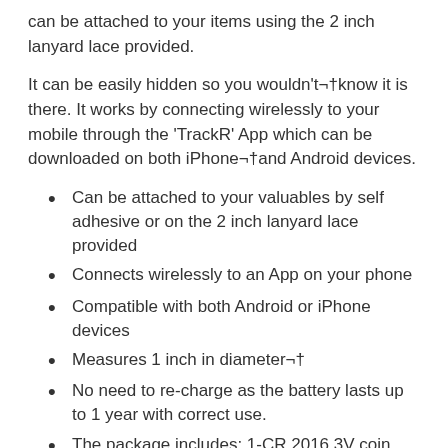can be attached to your items using the 2 inch lanyard lace provided.
It can be easily hidden so you wouldn't¬†know it is there. It works by connecting wirelessly to your mobile through the 'TrackR' App which can be downloaded on both iPhone¬†and Android devices.
Can be attached to your valuables by self adhesive or on the 2 inch lanyard lace provided
Connects wirelessly to an App on your phone
Compatible with both Android or iPhone devices
Measures 1 inch in diameter¬†
No need to re-charge as the battery lasts up to 1 year with correct use.
The package includes: 1-CR 2016 3V coin cell battery, 1 key ring lanyard and ring
It allows two way tracking which lets users ring from the device to the mobile or from your mobile to the device.